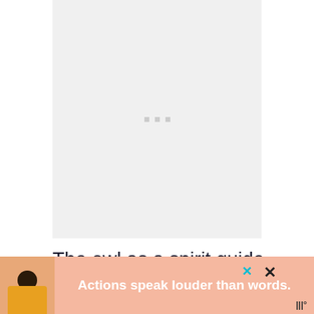[Figure (other): Large image placeholder with loading dots (three small gray squares) centered in a light gray rectangular area]
The owl as a spirit guide serves as a source of wisdom for the Aries sign. Aries
[Figure (other): Advertisement banner with pink/peach background, person illustration on left wearing yellow shirt, bold white text 'Actions speak louder than words.' in center, close button X on right]